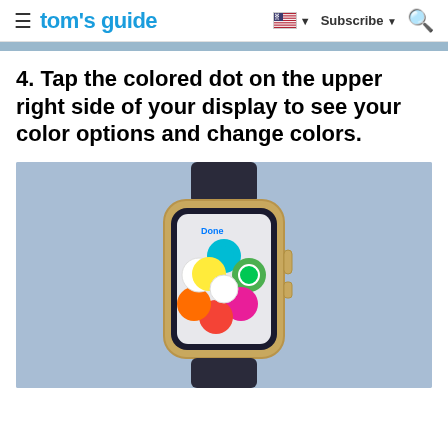tom's guide | Subscribe
4. Tap the colored dot on the upper right side of your display to see your color options and change colors.
[Figure (photo): Apple Watch displaying a color selection screen with circular colored dots arranged in a flower pattern: cyan, green, magenta, red, orange, white, yellow on a light blue background. The watch has a dark leather band and gold case. 'Done' text visible at top of watch screen.]